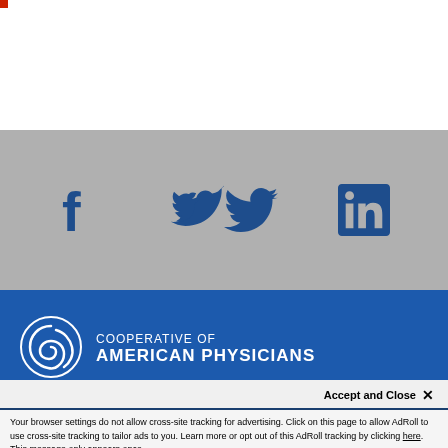[Figure (logo): Cooperative of American Physicians logo with circular swoosh icon and white text on blue background]
We use cookies to personalize the content you see on our website, to enhance the user experience, and to better understand what our visitors are most interested in. For more information, please review our Privacy Policy
Accept and Close ✕
Your browser settings do not allow cross-site tracking for advertising. Click on this page to allow AdRoll to use cross-site tracking to tailor ads to you. Learn more or opt out of this AdRoll tracking by clicking here. This message only appears once.